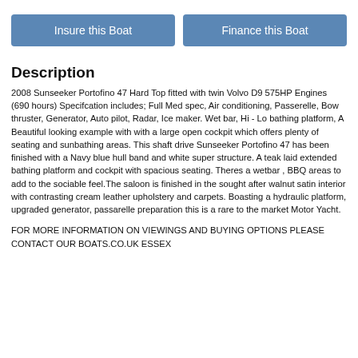[Figure (other): Two blue buttons: 'Insure this Boat' and 'Finance this Boat']
Description
2008 Sunseeker Portofino 47 Hard Top fitted with twin Volvo D9 575HP Engines (690 hours) Specifcation includes; Full Med spec, Air conditioning, Passerelle, Bow thruster, Generator, Auto pilot, Radar, Ice maker. Wet bar, Hi - Lo bathing platform, A Beautiful looking example with with a large open cockpit which offers plenty of seating and sunbathing areas. This shaft drive Sunseeker Portofino 47 has been finished with a Navy blue hull band and white super structure. A teak laid extended bathing platform and cockpit with spacious seating. Theres a wetbar , BBQ areas to add to the sociable feel.The saloon is finished in the sought after walnut satin interior with contrasting cream leather upholstery and carpets. Boasting a hydraulic platform, upgraded generator, passarelle preparation this is a rare to the market Motor Yacht.
FOR MORE INFORMATION ON VIEWINGS AND BUYING OPTIONS PLEASE CONTACT OUR BOATS.CO.UK ESSEX